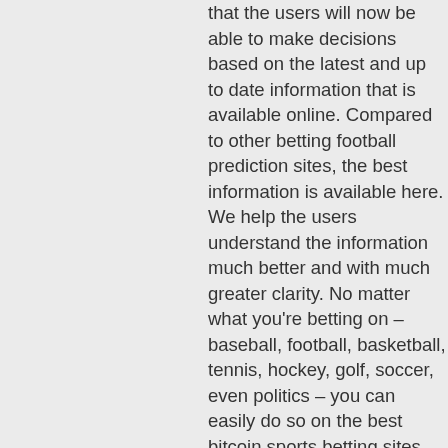that the users will now be able to make decisions based on the latest and up to date information that is available online. Compared to other betting football prediction sites, the best information is available here. We help the users understand the information much better and with much greater clarity. No matter what you're betting on – baseball, football, basketball, tennis, hockey, golf, soccer, even politics – you can easily do so on the best bitcoin sports betting sites. Live wagering is a fun way to bet on sports and bitcoin betting is no exception. With the ambition to help you with your free sports betting predictions, he